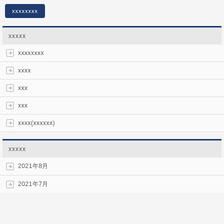xxxxxxxx
xxxxx
xxxxxxxx
xxxx
xxx
xxx
xxxx(xxxxxx)
xxxxx
2021年8月
2021年7月